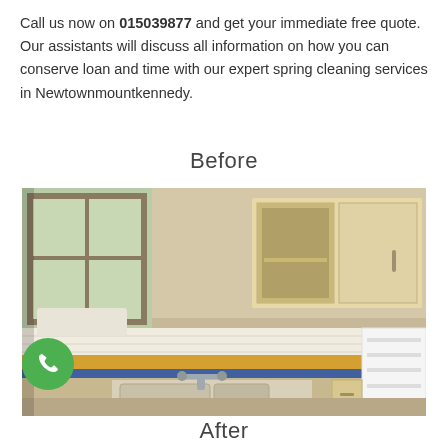Call us now on 015039877 and get your immediate free quote. Our assistants will discuss all information on how you can conserve loan and time with our expert spring cleaning services in Newtownmountkennedy.
Before
[Figure (photo): A messy, uncleaned kitchen showing cream-colored cabinets, a double sink with chrome tap, yellow and blue tiled countertop and backsplash, an open empty refrigerator, and a window with natural light — taken before professional spring cleaning.]
After